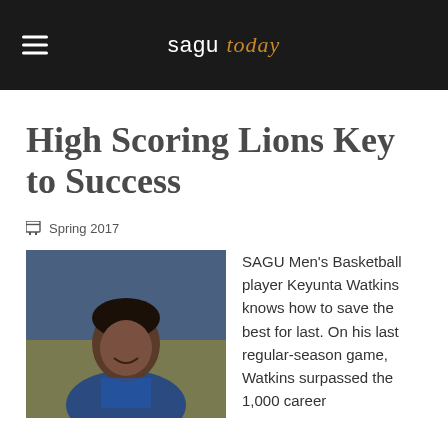sagu today
High Scoring Lions Key to Success
Spring 2017
[Figure (photo): Headshot of SAGU Men's Basketball player Keyunta Watkins, smiling, wearing a blue jersey, against a blue/tan background]
SAGU Men's Basketball player Keyunta Watkins knows how to save the best for last.  On his last regular-season game, Watkins surpassed the 1,000 career